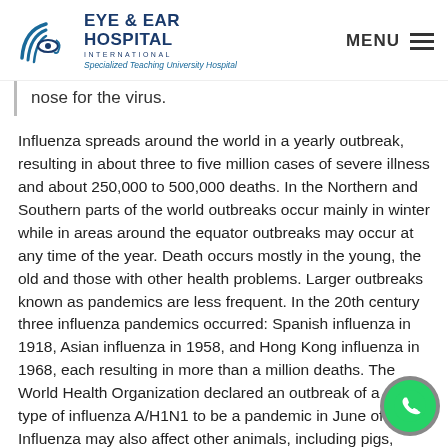EYE & EAR HOSPITAL INTERNATIONAL — Specialized Teaching University Hospital
nose for the virus.
Influenza spreads around the world in a yearly outbreak, resulting in about three to five million cases of severe illness and about 250,000 to 500,000 deaths. In the Northern and Southern parts of the world outbreaks occur mainly in winter while in areas around the equator outbreaks may occur at any time of the year. Death occurs mostly in the young, the old and those with other health problems. Larger outbreaks known as pandemics are less frequent. In the 20th century three influenza pandemics occurred: Spanish influenza in 1918, Asian influenza in 1958, and Hong Kong influenza in 1968, each resulting in more than a million deaths. The World Health Organization declared an outbreak of a new type of influenza A/H1N1 to be a pandemic in June of 2009. Influenza may also affect other animals, including pigs, horses and birds.